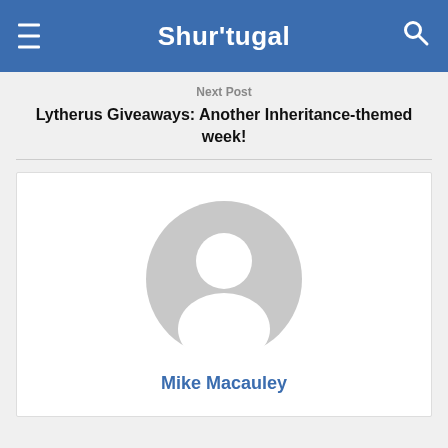Shur'tugal
Next Post
Lytherus Giveaways: Another Inheritance-themed week!
[Figure (illustration): Generic user avatar/profile icon — a gray silhouette of a person (head and shoulders) inside a circular gray background]
Mike Macauley